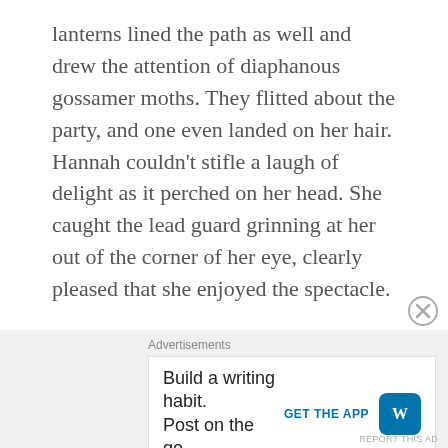lanterns lined the path as well and drew the attention of diaphanous gossamer moths. They flitted about the party, and one even landed on her hair. Hannah couldn't stifle a laugh of delight as it perched on her head. She caught the lead guard grinning at her out of the corner of her eye, clearly pleased that she enjoyed the spectacle.
In the distance, the sights and sounds of a gathering solidified into the form and sounds of a palace. The guards marched her up the front steps, through the towering columns, and through the throng of gawking fae. Hannah could scarcely watch before they spun away in a mad dance. It felt like Masquerade. Each played the phantom, and she the unwitting attendant. The music
Advertisements
Build a writing habit. Post on the go.
GET THE APP
REPORT THIS AD